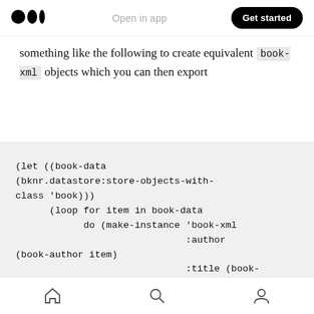Medium logo | Open in app | Get started
something like the following to create equivalent book-xml objects which you can then export
(let ((book-data
(bknr.datastore:store-objects-with-class 'book)))
      (loop for item in book-data
            do (make-instance 'book-xml
                              :author
(book-author item)
                              :title (book-
title item)
                              :id (book-id
item)
                              :subject
Home | Search | Profile